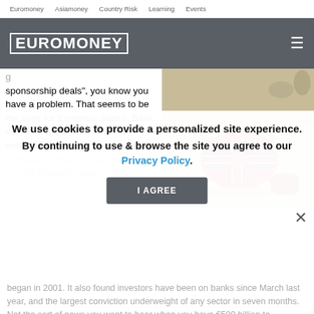Euromoney   Asiamoney   Country Risk   Learning   Events
[Figure (logo): Euromoney logo in white block letters on dark grey header bar with hamburger menu icon]
sponsorship deals", you know you have a problem. That seems to be the case for European banks. Bank of America Merrill Lynch's benchmark February investor survey reported that the financial sector's popularity
[Figure (photo): Photo showing a Union Jack flag-themed object (appears to be a novelty item) on a sandy/light surface with human figures in background]
began in 2001. It also found investors have been on banks since March last year, and the largest conviction underweight of any sector in seven months. Not the sort of news you want to hear when you have €500 billion to refinance this year.
We use cookies to provide a personalized site experience.
By continuing to use & browse the site you agree to our Privacy Policy.